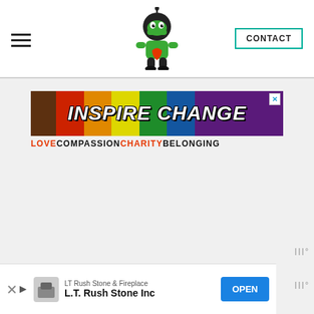CONTACT
[Figure (logo): Ninja character mascot logo in green holding a heart]
[Figure (infographic): INSPIRE CHANGE banner with rainbow gradient background. Tagline: LOVE COMPASSION CHARITY BELONGING]
[Figure (infographic): Bottom advertisement bar: LT Rush Stone & Fireplace - L.T. Rush Stone Inc - OPEN button]
LT Rush Stone & Fireplace
L.T. Rush Stone Inc
OPEN